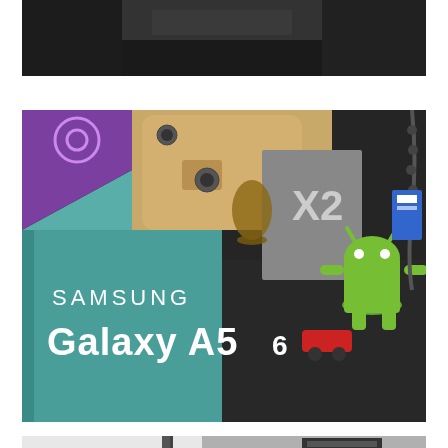[Figure (photo): Top portion of a photo showing a dark surface, partially cropped at top of page]
[Figure (photo): Samsung Galaxy A5 (6) product box (teal/green color) open showing the phone, with Android figurine, other devices and accessories on a dark desk in background]
[Figure (photo): Bottom portion of another photo showing what appears to be a display stand with accessories, partially cropped at bottom of page]